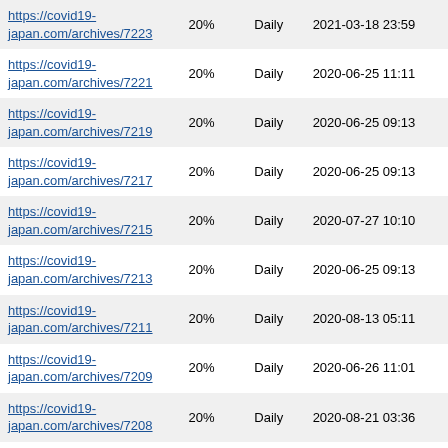| https://covid19-japan.com/archives/7223 | 20% | Daily | 2021-03-18 23:59 |
| https://covid19-japan.com/archives/7221 | 20% | Daily | 2020-06-25 11:11 |
| https://covid19-japan.com/archives/7219 | 20% | Daily | 2020-06-25 09:13 |
| https://covid19-japan.com/archives/7217 | 20% | Daily | 2020-06-25 09:13 |
| https://covid19-japan.com/archives/7215 | 20% | Daily | 2020-07-27 10:10 |
| https://covid19-japan.com/archives/7213 | 20% | Daily | 2020-06-25 09:13 |
| https://covid19-japan.com/archives/7211 | 20% | Daily | 2020-08-13 05:11 |
| https://covid19-japan.com/archives/7209 | 20% | Daily | 2020-06-26 11:01 |
| https://covid19-japan.com/archives/7208 | 20% | Daily | 2020-08-21 03:36 |
| https://covid19-japan.com/archives/7206 | 20% | Daily | 2020-08-18 07:46 |
| https://covid19-japan.com/archives/7204 | 20% | Daily | 2020-06-25 07:12 |
| https://covid19-japan.com/archives/7202 | 20% | Daily | 2020-06-25 07:12 |
| https://covid19-japan.com/archives/7200 | 20% | Daily | 2020-07-02 05:46 |